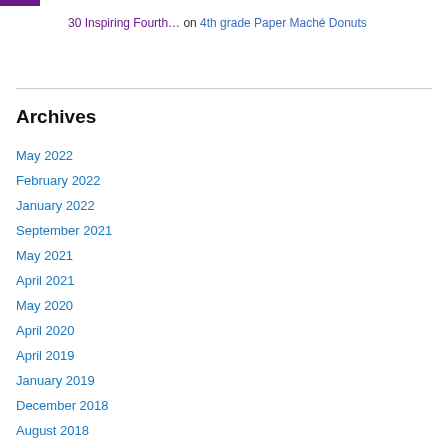30 Inspiring Fourth… on 4th grade Paper Maché Donuts
Archives
May 2022
February 2022
January 2022
September 2021
May 2021
April 2021
May 2020
April 2020
April 2019
January 2019
December 2018
August 2018
July 2018